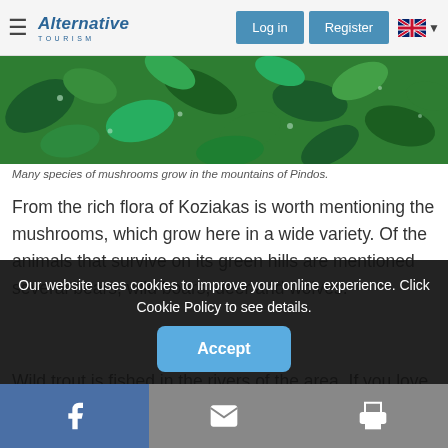Alternative Tourism — Log in | Register
[Figure (photo): Close-up photo of green leaves and plant foliage in the mountains of Pindos]
Many species of mushrooms grow in the mountains of Pindos.
From the rich flora of Koziakas is worth mentioning the mushrooms, which grow here in a wide variety. Of the animals that survive on its green hills are mentioned several bears, wild boars, deer and wolves.
Wild trout is fished in the rivers of the area. If you love fishing, you will have the pleasure of enjoying it with the
Our website uses cookies to improve your online experience. Click Cookie Policy to see details.
Facebook | Email | Print